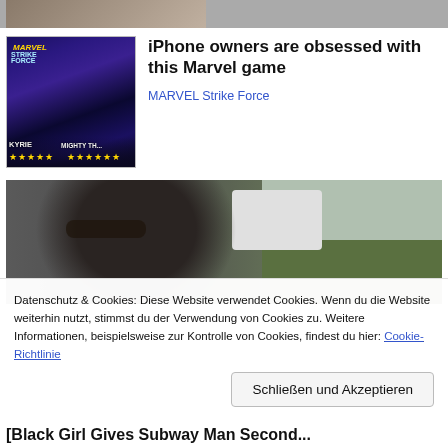[Figure (photo): Cropped top portion of an image, partially visible at the top of the page]
[Figure (photo): Advertisement thumbnail showing Marvel Strike Force game characters (Valkyrie, Mighty Thor) with yellow stars rating at the bottom, dark sci-fi background]
iPhone owners are obsessed with this Marvel game
MARVEL Strike Force
[Figure (photo): Photo of a man wearing a black cap and sunglasses, a child with a pink bow visible behind him, outdoor setting with white vehicle and green grass in background]
Datenschutz & Cookies: Diese Website verwendet Cookies. Wenn du die Website weiterhin nutzt, stimmst du der Verwendung von Cookies zu. Weitere Informationen, beispielsweise zur Kontrolle von Cookies, findest du hier: Cookie-Richtlinie
Schließen und Akzeptieren
[Black Girl Gives Subway Man Second...